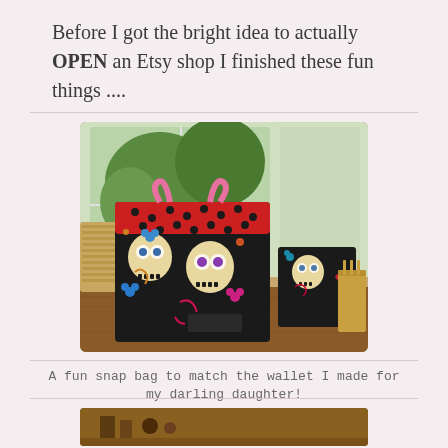Before I got the bright idea to actually OPEN an Etsy shop I finished these fun things ....
[Figure (photo): Photo of a sugar skull patterned tote bag with red and black polka dot top trim and matching wallet/small bag on a wooden table, with a window showing greenery in the background]
A fun snap bag to match the wallet I made for my darling daughter!
[Figure (photo): Partial photo at bottom of page, appears to show craft items on a surface]